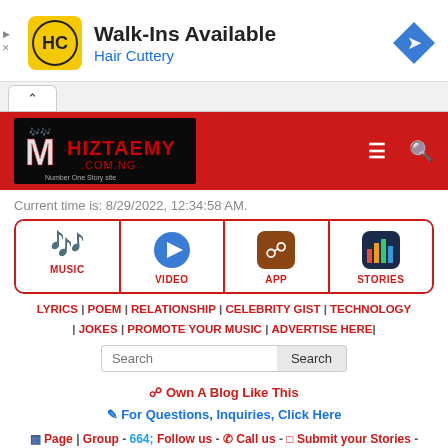[Figure (infographic): Advertisement banner for Hair Cuttery with HC logo, text 'Walk-Ins Available' and 'Hair Cuttery', and a blue direction arrow icon. Ad controls (play/close) on the left.]
[Figure (logo): Miztaemy.com.ng website logo on red navigation bar with hamburger menu and search icon]
Current time is: 8/29/2022, 12:34:58 AM.
[Figure (infographic): Four icon navigation cells: MUSIC (musical notes icon), VIDEO (blue play button), APP (RSS/feed icon in brown), STORIES (equalizer/bar chart icon in dark blue)]
LYRICS | POEM | RELATIONSHIP | CELEBRITY GIST | TECHNOLOGY | JOKES | PROMOTE YOUR MUSIC | ADVERTISE HERE|
Search [input] Search [button]
Own A Blog Like This
For Questions, Inquiries, Click Here
Page | Group - Follow us - Call us - Submit your Stories -